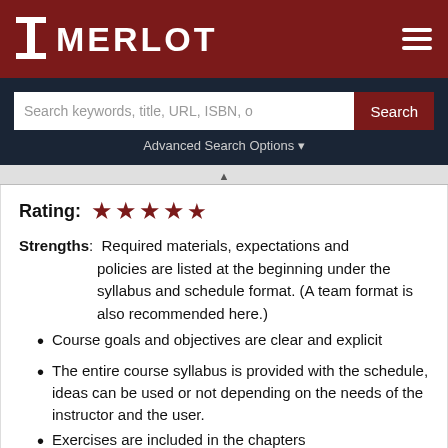MERLOT
Search keywords, title, URL, ISBN, o
Advanced Search Options
Rating: ★★★★½
Strengths: Required materials, expectations and policies are listed at the beginning under the syllabus and schedule format. (A team format is also recommended here.)
Course goals and objectives are clear and explicit
The entire course syllabus is provided with the schedule, ideas can be used or not depending on the needs of the instructor and the user.
Exercises are included in the chapters
Definitions and an overview are provided at the